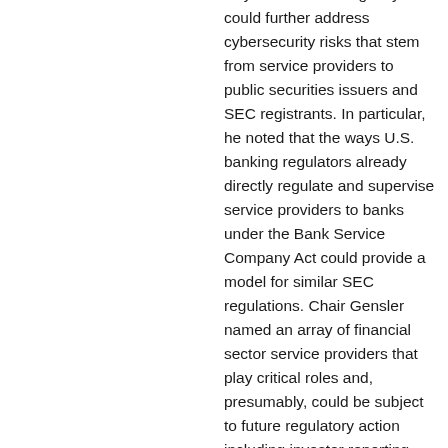ways in which the agency could further address cybersecurity risks that stem from service providers to public securities issuers and SEC registrants. In particular, he noted that the ways U.S. banking regulators already directly regulate and supervise service providers to banks under the Bank Service Company Act could provide a model for similar SEC regulations. Chair Gensler named an array of financial sector service providers that play critical roles and, presumably, could be subject to future regulatory action including investor reporting systems and providers, middle-office service providers, fund administrators and